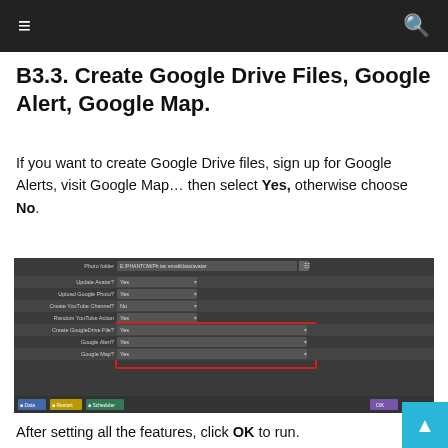≡ 🔍
B3.3. Create Google Drive Files, Google Alert, Google Map.
If you want to create Google Drive files, sign up for Google Alerts, visit Google Map… then select Yes, otherwise choose No.
[Figure (screenshot): Screenshot of a dark-themed settings dialog showing fields: Photo folder (E:/PHANTOM/Ph tac email/data/avatar), Update Avatar? Yes, Upload Google Photo? Yes, Create YouTube Channel? No, Random YouTube Action Yes, Create GoogleDrive File? Yes, Google Alert? Yes, Google Map? Yes — with the last three fields highlighted in a red rectangle. Buttons at bottom: Data, Restart, Scheduler, OK, Cancel.]
After setting all the features, click OK to run.